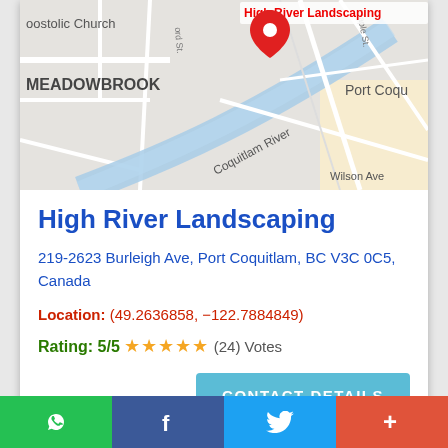[Figure (map): Google Maps screenshot showing High River Landscaping location near Coquitlam River, Port Coquitlam, BC. Labels include: apostolic Church, MEADOWBROOK, Coquitlam River, Port Coqu, Wilson Ave. A red pin marks the business.]
High River Landscaping
219-2623 Burleigh Ave, Port Coquitlam, BC V3C 0C5, Canada
Location: (49.2636858, -122.7884849)
Rating: 5/5 ★★★★★ (24) Votes
CONTACT DETAILS